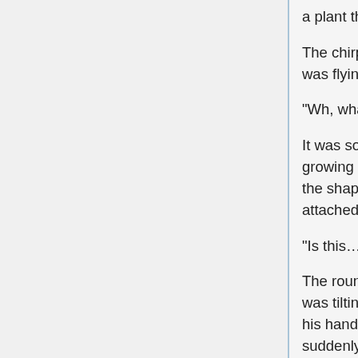a plant that didn't exist on earth.
The chirping of small birds could be heard, something was flying towards the railing of the balcony.
“Wh, what the? This thing is……”
It was something spherical and chubby with feathers growing from it. On the round body there were eyes in the shape of perfect circle and a meager beak attached.
“Is this……a bird?”
The round body slanted, it was a cute gesture as if it was tilting its head. Kizuna unconsciously extended his hand trying to pet it, but that living thing flew away suddenly and escaped from Kizuna’s hand. And then it went distant from the beach, flying over the green